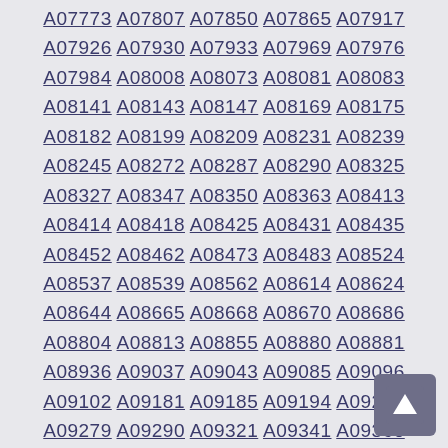A07773 A07807 A07850 A07865 A07917 A07926 A07930 A07933 A07969 A07976 A07984 A08008 A08073 A08081 A08083 A08141 A08143 A08147 A08169 A08175 A08182 A08199 A08209 A08231 A08239 A08245 A08272 A08287 A08290 A08325 A08327 A08347 A08350 A08363 A08413 A08414 A08418 A08425 A08431 A08435 A08452 A08462 A08473 A08483 A08524 A08537 A08539 A08562 A08614 A08624 A08644 A08665 A08668 A08670 A08686 A08804 A08813 A08855 A08880 A08881 A08936 A09037 A09043 A09085 A09096 A09102 A09181 A09185 A09194 A09215 A09279 A09290 A09321 A09341 A09368 A09387 A09399 A09414 A09418 A09435 A09454 A09475 A09499 A09523 A09534 A09553 A09570 A09594 A09595 A09596 A09649 A09662 A09676 A09687 A09710